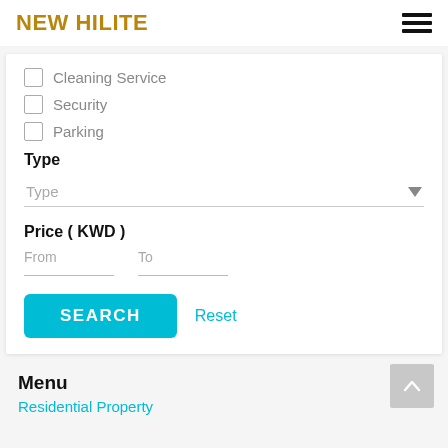NEW HILITE
Cleaning Service
Security
Parking
Type
Type (dropdown)
Price ( KWD )
From
To
SEARCH
Reset
Menu
Residential Property